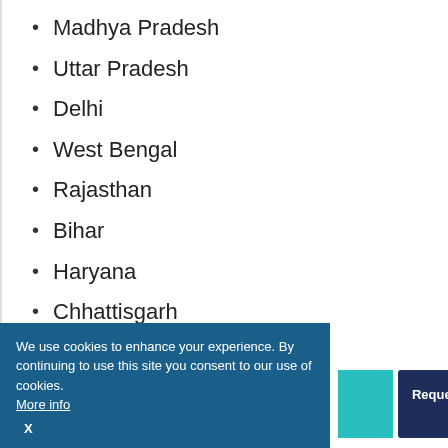Madhya Pradesh
Uttar Pradesh
Delhi
West Bengal
Rajasthan
Bihar
Haryana
Chhattisgarh
Uttarakhand
Punjab
Jharkhand
We use cookies to enhance your experience. By continuing to use this site you consent to our use of cookies. More info
X